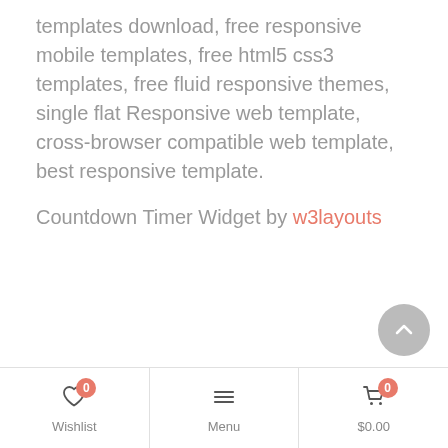templates download, free responsive mobile templates, free html5 css3 templates, free fluid responsive themes, single flat Responsive web template, cross-browser compatible web template, best responsive template.
Countdown Timer Widget by w3layouts
Wishlist 0 | Menu | $0.00 0